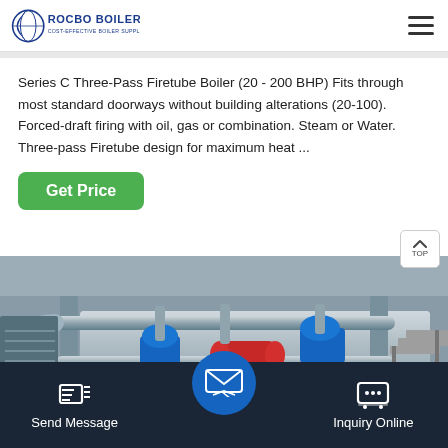[Figure (logo): Rocbo Boiler logo with text ROCBO BOILER and Cost-Effective Boiler Supplier]
Series C Three-Pass Firetube Boiler (20 - 200 BHP) Fits through most standard doorways without building alterations (20-100). Forced-draft firing with oil, gas or combination. Steam or Water. Three-pass Firetube design for maximum heat ...
[Figure (photo): Industrial boiler room photo showing boiler equipment with pipes, valves, and blue mechanical components in a factory setting]
Send Message | Inquiry Online